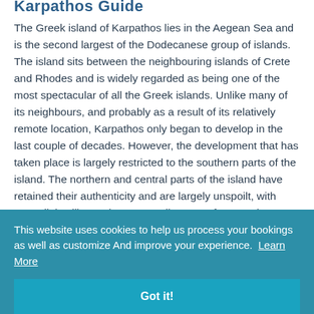Karpathos Guide
The Greek island of Karpathos lies in the Aegean Sea and is the second largest of the Dodecanese group of islands. The island sits between the neighbouring islands of Crete and Rhodes and is widely regarded as being one of the most spectacular of all the Greek islands. Unlike many of its neighbours, and probably as a result of its relatively remote location, Karpathos only began to develop in the last couple of decades. However, the development that has taken place is largely restricted to the southern parts of the island. The northern and central parts of the island have retained their authenticity and are largely unspoilt, with pretty little villages that seem miles away from tourism.
This website uses cookies to help us process your bookings as well as customize And improve your experience. Learn More
Got it!